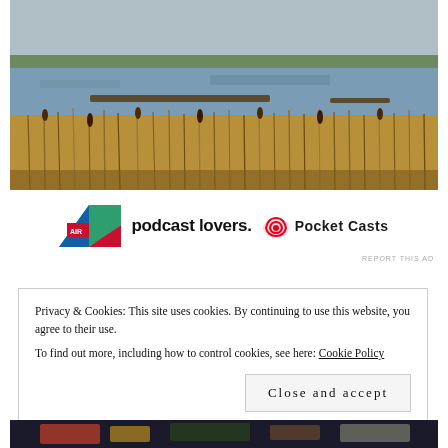[Figure (photo): Wetland landscape with reeds and water in the foreground, flat horizon with trees in the distance under a grey sky]
[Figure (logo): Advertisement banner showing a stylized NZ logo, text 'podcast lovers.' and Pocket Casts logo]
REPORT THIS AD
Privacy & Cookies: This site uses cookies. By continuing to use this website, you agree to their use.
To find out more, including how to control cookies, see here: Cookie Policy
Close and accept
[Figure (photo): Partial view of a food photo at the bottom of the page]